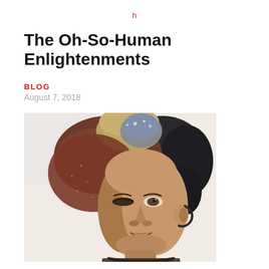h
The Oh-So-Human Enlightenments
BLOG
August 7, 2018
[Figure (photo): A decorative ceramic or resin sculptural face/mask, showing a human face with elaborate ornate headdress or hair, rendered in metallic bronze, copper, gold and dark tones, photographed against a white background.]